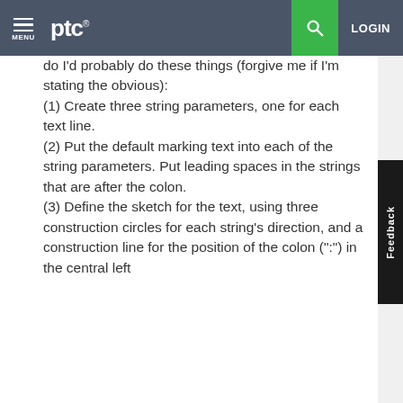ptc LOGIN MENU
do I'd probably do these things (forgive me if I'm stating the obvious):
(1) Create three string parameters, one for each text line.
(2) Put the default marking text into each of the string parameters. Put leading spaces in the strings that are after the colon.
(3) Define the sketch for the text, using three construction circles for each string's direction, and a construction line for the position of the colon (":") in the central left